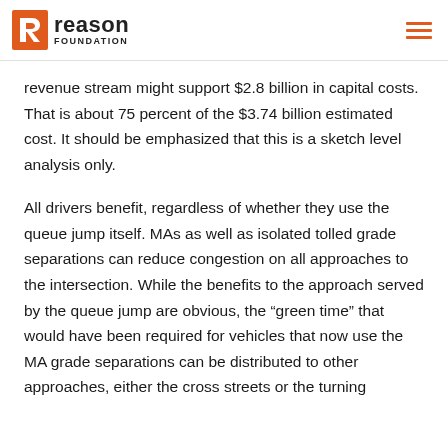Reason Foundation
revenue stream might support $2.8 billion in capital costs. That is about 75 percent of the $3.74 billion estimated cost. It should be emphasized that this is a sketch level analysis only.
All drivers benefit, regardless of whether they use the queue jump itself. MAs as well as isolated tolled grade separations can reduce congestion on all approaches to the intersection. While the benefits to the approach served by the queue jump are obvious, the “green time” that would have been required for vehicles that now use the MA grade separations can be distributed to other approaches, either the cross streets or the turning